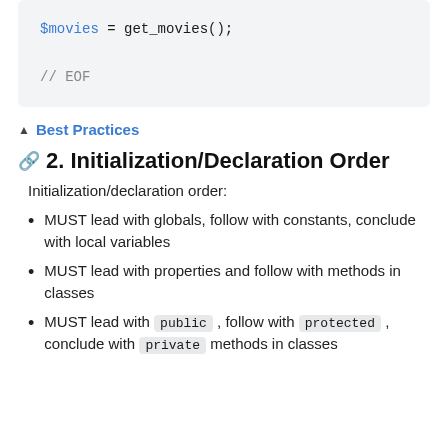[Figure (screenshot): Code block showing: $movies = get_movies(); and // EOF]
▲ Best Practices
2. Initialization/Declaration Order
Initialization/declaration order:
MUST lead with globals, follow with constants, conclude with local variables
MUST lead with properties and follow with methods in classes
MUST lead with public , follow with protected , conclude with private methods in classes